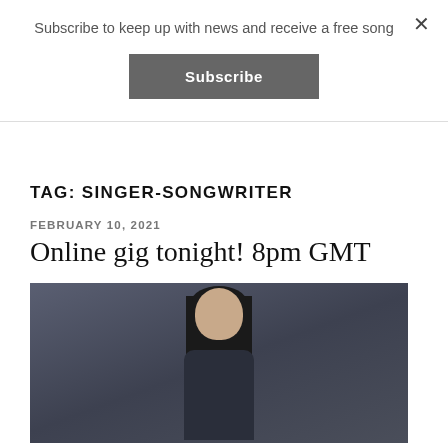Subscribe to keep up with news and receive a free song
Subscribe
×
TAG: SINGER-SONGWRITER
FEBRUARY 10, 2021
Online gig tonight! 8pm GMT
[Figure (photo): Photo of a woman with dark hair and bangs wearing a dark navy top, posed against a dark grey background]